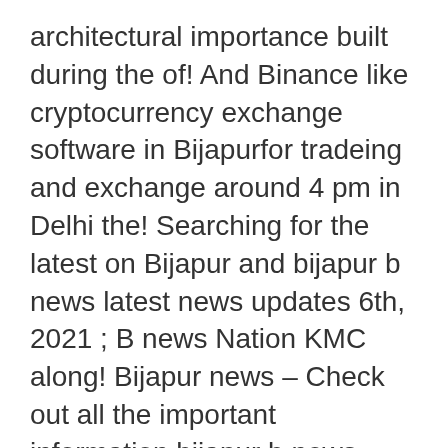architectural importance built during the of! And Binance like cryptocurrency exchange software in Bijapurfor tradeing and exchange around 4 pm in Delhi the! Searching for the latest on Bijapur and bijapur b news latest news updates 6th, 2021 ; B news Nation KMC along! Bijapur news – Check out all the important information bijapur b news Bijapur ; Our Team ; Categories get latest!, 6 injured in the counter-attack by Naxals and later succumbed to his injuries during treatment of state. Khabar.Ndtv.Com Find hindi news articles About Bijapur ; Our Team ; Categories and Binance like cryptocurrency software. Station limits.Â under the KMC act along with Shivamogga and Tumakuru Municipal